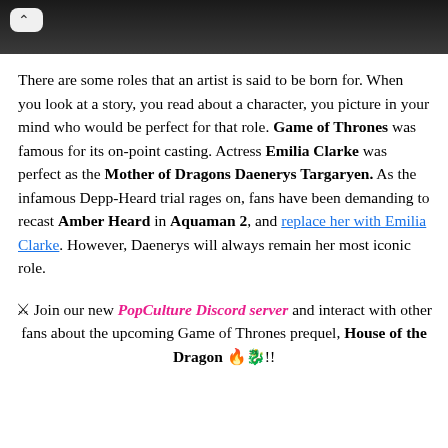[Figure (photo): Dark photo strip showing a person in dark clothing, with a back navigation button in the top left corner]
There are some roles that an artist is said to be born for. When you look at a story, you read about a character, you picture in your mind who would be perfect for that role. Game of Thrones was famous for its on-point casting. Actress Emilia Clarke was perfect as the Mother of Dragons Daenerys Targaryen. As the infamous Depp-Heard trial rages on, fans have been demanding to recast Amber Heard in Aquaman 2, and replace her with Emilia Clarke. However, Daenerys will always remain her most iconic role.
⚔️ Join our new PopCulture Discord server and interact with other fans about the upcoming Game of Thrones prequel, House of the Dragon 🔥🐉!!